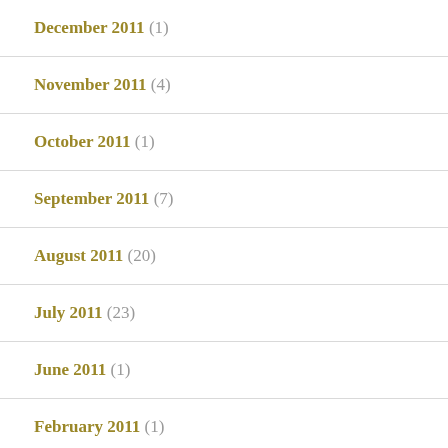December 2011 (1)
November 2011 (4)
October 2011 (1)
September 2011 (7)
August 2011 (20)
July 2011 (23)
June 2011 (1)
February 2011 (1)